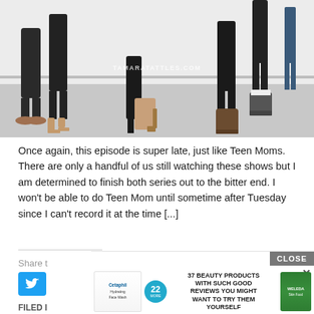[Figure (photo): Photo showing legs and feet of multiple people dancing or exercising in a studio with hardwood-style floor. People are wearing black leggings and various shoes including heeled booties. A watermark reading TAMARATATTLES.COM is visible.]
Once again, this episode is super late, just like Teen Moms. There are only a handful of us still watching these shows but I am determined to finish both series out to the bitter end. I won't be able to do Teen Mom until sometime after Tuesday since I can't record it at the time [...]
Share t
[Figure (screenshot): Advertisement banner showing: CLOSE button (gray), X close icon, Cetaphil and other skincare product images, a circular badge with '22' and 'MORE', bold text reading '37 BEAUTY PRODUCTS WITH SUCH GOOD REVIEWS YOU MIGHT WANT TO TRY THEM YOURSELF', and a Weleda green product bottle.]
FILED I